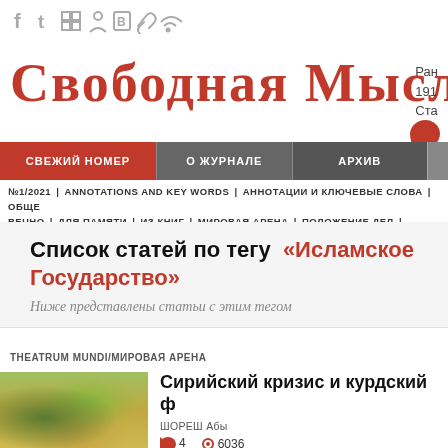[Figure (screenshot): Social media icons row: Facebook, Twitter, share, users, B, clip/link, RSS feed icons in gray]
Свободная Мысль
Ран… 191… Ста…
СВЕЖИЙ НОМЕР | О ЖУРНАЛЕ | АРХИВ
№1/2021 | ANNOTATIONS AND KEY WORDS | АННОТАЦИИ И КЛЮЧЕВЫЕ СЛОВА | ОБЩЕ… ВЕЧНО | ДЛЯ ПАМЯТИ | ИЗ КНИГ | МИРОВАЯ АРЕНА | ПОЛОЖЕНИЕ ДЕЛ | ГОСУДАРСТ… ПОЛЯХ | РЕЦЕНЗИИ | РАЗНОЕ
Список статей по тегу «Исламское Государство»
Ниже представлены статьи с этим тегом
THEATRUM MUNDI/МИРОВАЯ АРЕНА
Сирийский кризис и курдский ф…
ШОРЕШ Абы
4   6036